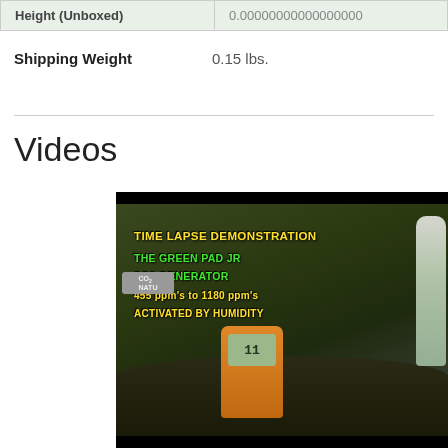| Height (Unboxed) | 0.00000000000000000 |
| --- | --- |
Shipping Weight    0.15 lbs.
Videos
[Figure (photo): Video thumbnail showing a time lapse demonstration of The Green Pad Jr CO2 Generator, with text overlay reading 'TIME LAPSE DEMONSTRATION / THE GREEN PAD JR / CO2 GENERATOR / 455 ppm's to 1180 ppm's / ACTIVATED BY HUMIDITY'. A yellow CO2 meter device is visible in the foreground with dark soil and plant tray background.]